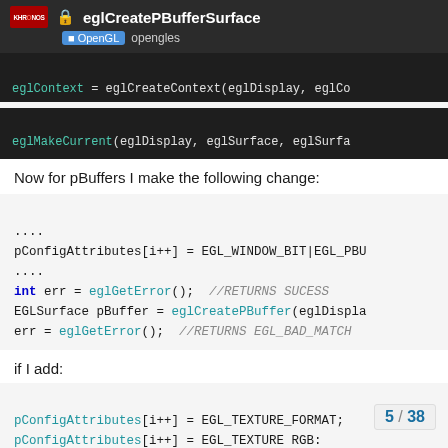eglCreatePBufferSurface — OpenGL opengles
eglContext = eglCreateContext(eglDisplay, eglCo
eglMakeCurrent(eglDisplay, eglSurface, eglSurfa
Now for pBuffers I make the following change:
....
pConfigAttributes[i++] = EGL_WINDOW_BIT|EGL_PBU
....
int err = eglGetError(); //RETURNS SUCESS
EGLSurface pBuffer = eglCreatePBuffer(eglDispla
err = eglGetError(); //RETURNS EGL_BAD_MATCH
if I add:
pConfigAttributes[i++] = EGL_TEXTURE_FORMAT;
pConfigAttributes[i++] = EGL_TEXTURE RGB:
pConfigAttributes[i++] = EGL_TI
pConfigAttributes[i++] = EGL_TI
5 / 38